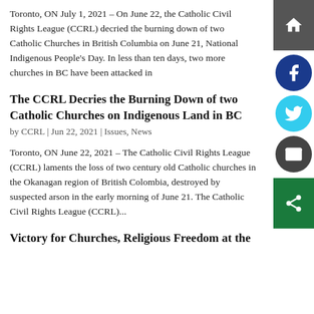Toronto, ON July 1, 2021 – On June 22, the Catholic Civil Rights League (CCRL) decried the burning down of two Catholic Churches in British Columbia on June 21, National Indigenous People's Day. In less than ten days, two more churches in BC have been attacked in
The CCRL Decries the Burning Down of two Catholic Churches on Indigenous Land in BC
by CCRL | Jun 22, 2021 | Issues, News
Toronto, ON June 22, 2021 – The Catholic Civil Rights League (CCRL) laments the loss of two century old Catholic churches in the Okanagan region of British Colombia, destroyed by suspected arson in the early morning of June 21. The Catholic Civil Rights League (CCRL)...
Victory for Churches, Religious Freedom at the